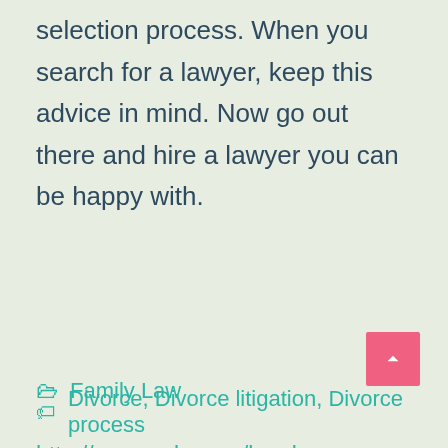selection process. When you search for a lawyer, keep this advice in mind. Now go out there and hire a lawyer you can be happy with.
http://www.nolo.com/legal-encyclopedia/choosing-divorce-court-over-mediation-29737.html
Family Law
Divorce, Divorce litigation, Divorce process